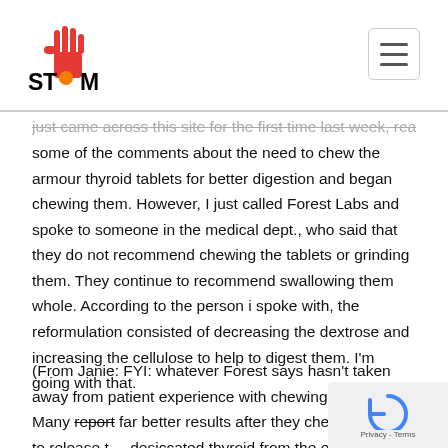STTM
just came across this site for the first time last week, read some of the comments about the need to chew the armour thyroid tablets for better digestion and began chewing them. However, I just called Forest Labs and spoke to someone in the medical dept., who said that they do not recommend chewing the tablets or grinding them. They continue to recommend swallowing them whole. According to the person i spoke with, the reformulation consisted of decreasing the dextrose and increasing the cellulose to help to digest them. I'm going with that.
(From Janie: FYI: whatever Forest says hasn't taken away from patient experience with chewing them up. Many report far better results after they chew them up to release the desiccated thyroid from the excess cellulose and dec…)